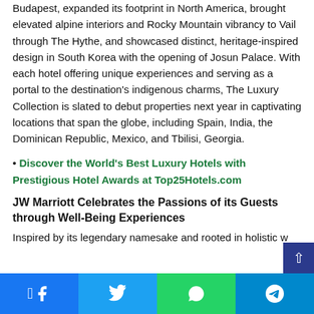Budapest, expanded its footprint in North America, brought elevated alpine interiors and Rocky Mountain vibrancy to Vail through The Hythe, and showcased distinct, heritage-inspired design in South Korea with the opening of Josun Palace. With each hotel offering unique experiences and serving as a portal to the destination's indigenous charms, The Luxury Collection is slated to debut properties next year in captivating locations that span the globe, including Spain, India, the Dominican Republic, Mexico, and Tbilisi, Georgia.
• Discover the World's Best Luxury Hotels with Prestigious Hotel Awards at Top25Hotels.com
JW Marriott Celebrates the Passions of its Guests through Well-Being Experiences
Inspired by its legendary namesake and rooted in holistic w...